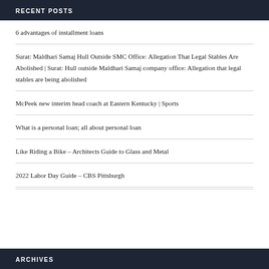RECENT POSTS
6 advantages of installment loans
Surat: Maldhari Samaj Hull Outside SMC Office: Allegation That Legal Stables Are Abolished | Surat: Hull outside Maldhari Samaj company office: Allegation that legal stables are being abolished
McPeek new interim head coach at Eastern Kentucky | Sports
What is a personal loan; all about personal loan
Like Riding a Bike – Architects Guide to Glass and Metal
2022 Labor Day Guide – CBS Pittsburgh
ARCHIVES